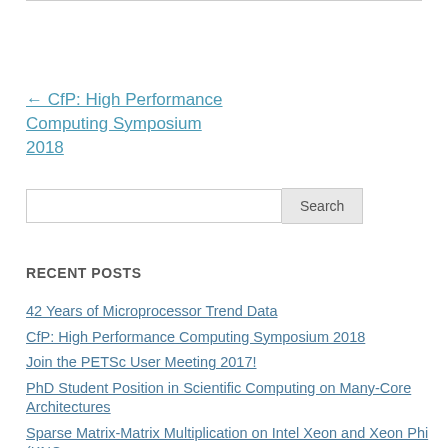← CfP: High Performance Computing Symposium 2018
Search (search bar)
RECENT POSTS
42 Years of Microprocessor Trend Data
CfP: High Performance Computing Symposium 2018
Join the PETSc User Meeting 2017!
PhD Student Position in Scientific Computing on Many-Core Architectures
Sparse Matrix-Matrix Multiplication on Intel Xeon and Xeon Phi (KNC,